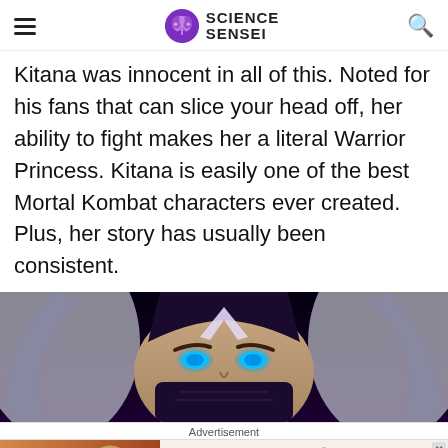Science Sensei
Kitana was innocent in all of this. Noted for his fans that can slice your head off, her ability to fight makes her a literal Warrior Princess. Kitana is easily one of the best Mortal Kombat characters ever created. Plus, her story has usually been consistent.
[Figure (photo): Close-up of Kitana from Mortal Kombat, a female warrior with glowing blue eyes, white hair, and dark mask/headpiece against a dark background.]
Advertisement
[Figure (photo): Advertisement banner: Eyewear for Your Journey - Timeless Styles, Unmatched Quality - Shop Now button. Shows two women wearing stylish sunglasses.]